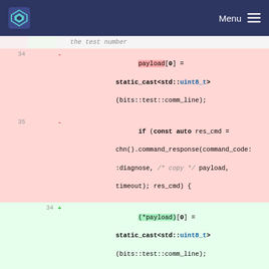Navigation bar with logo and Menu
[Figure (screenshot): Code diff view showing lines 34-38 with deleted (red background) and added (green background) code. Deleted lines show payload[0] changed to (*payload)[0] and payload changed to *payload in command_response call. Lines 36-38 are neutral/deleted context.]